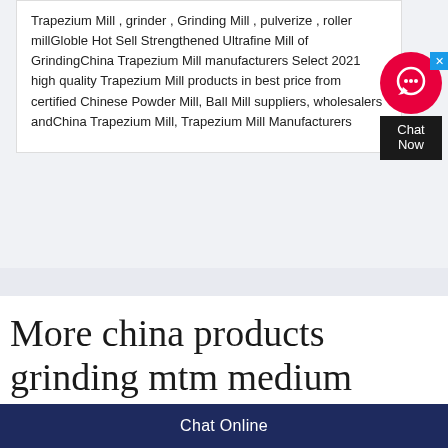Trapezium Mill , grinder , Grinding Mill , pulverize , roller millGloble Hot Sell Strengthened Ultrafine Mill of GrindingChina Trapezium Mill manufacturers Select 2021 high quality Trapezium Mill products in best price from certified Chinese Powder Mill, Ball Mill suppliers, wholesalers andChina Trapezium Mill, Trapezium Mill Manufacturers
[Figure (other): Chat widget with red circle icon showing a headset/support icon and a dark chat now button with a blue close X button]
More china products grinding mtm medium speed
Chat Online